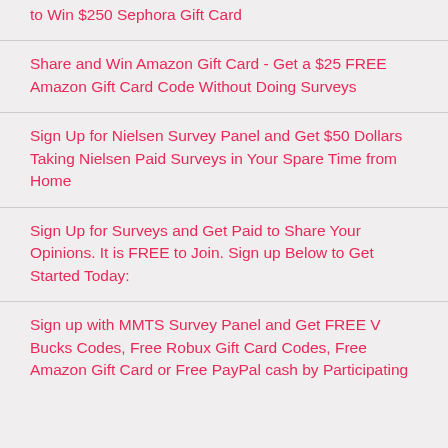to Win $250 Sephora Gift Card
Share and Win Amazon Gift Card - Get a $25 FREE Amazon Gift Card Code Without Doing Surveys
Sign Up for Nielsen Survey Panel and Get $50 Dollars Taking Nielsen Paid Surveys in Your Spare Time from Home
Sign Up for Surveys and Get Paid to Share Your Opinions. It is FREE to Join. Sign up Below to Get Started Today:
Sign up with MMTS Survey Panel and Get FREE V Bucks Codes, Free Robux Gift Card Codes, Free Amazon Gift Card or Free PayPal cash by Participating